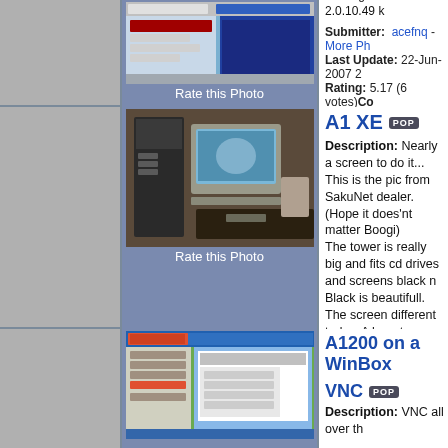[Figure (screenshot): Screenshot of an Amiga desktop/GUI running on Gen's 2.0.10.49]
Rate this Photo
running on Gen's 2.0.10.49 k
Submitter: acefnq - More Ph
Last Update: 22-Jun-2007 2
Rating: 5.17 (6 votes)Co
[Figure (photo): Photo of an A1 XE Amiga computer tower with monitor and keyboard]
Rate this Photo
A1 XE
Description: Nearly a screen to do it...
This is the pic from SakuNet dealer.
(Hope it does'nt matter Boogi)
The tower is really big and fits cd drives and screens black n
Black is beautifull. The screen different today. A beauty.
Submitter: PR - More Ph
Last Update: 23-Feb-2005 :
Rating: 6.29 (7 votes)Com
[Figure (screenshot): Screenshot of A1200 on a WinBox via VNC]
A1200 on a WinBox VNC
Description: VNC all over th
Saluditos,
Ferrán.